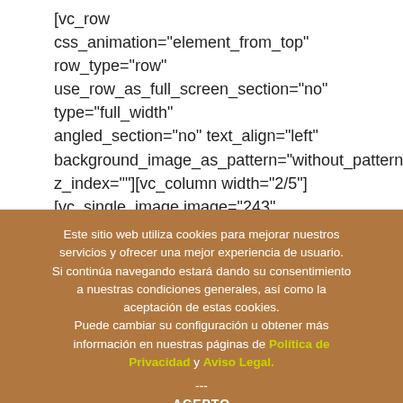[vc_row
css_animation="element_from_top"
row_type="row"
use_row_as_full_screen_section="no"
type="full_width"
angled_section="no" text_align="left"
background_image_as_pattern="without_pattern"
z_index=""][vc_column width="2/5"]
[vc_single_image image="243"
Este sitio web utiliza cookies para mejorar nuestros servicios y ofrecer una mejor experiencia de usuario. Si continúa navegando estará dando su consentimiento a nuestras condiciones generales, así como la aceptación de estas cookies. Puede cambiar su configuración u obtener más información en nuestras páginas de Política de Privacidad y Aviso Legal.
---
ACEPTO